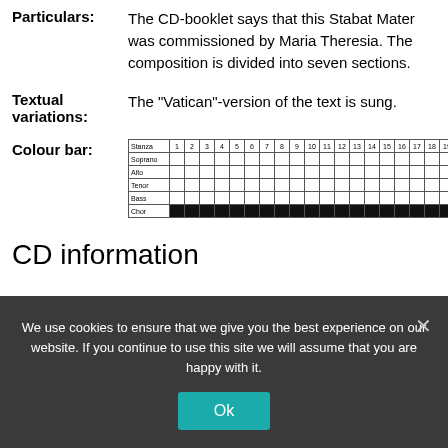Particulars: The CD-booklet says that this Stabat Mater was commissioned by Maria Theresia. The composition is divided into seven sections.
Textual variations: The "Vatican"-version of the text is sung.
Colour bar:
[Figure (table-as-image): Colour bar table showing stanzas 1-20 with rows for Soprano, Alto, Tenor, Bass, Chor. Chor row is filled black.]
CD information
We use cookies to ensure that we give you the best experience on our website. If you continue to use this site we will assume that you are happy with it.